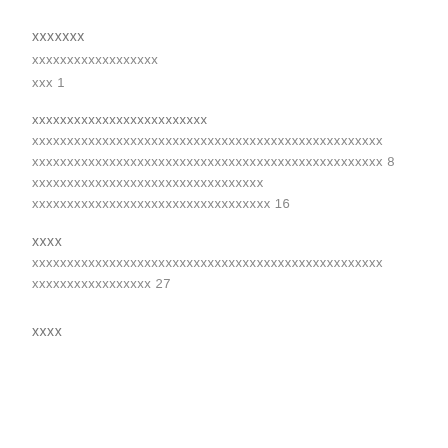xxxxxxx
xxxxxxxxxxxxxxxxxx
xxx 1
xxxxxxxxxxxxxxxxxxxxxxxxx
xxxxxxxxxxxxxxxxxxxxxxxxxxxxxxxxxxxxxxxxxxxxxxxxxx
xxxxxxxxxxxxxxxxxxxxxxxxxxxxxxxxxxxxxxxxxxxxxxxxxx 8
xxxxxxxxxxxxxxxxxxxxxxxxxxxxxxxxx
xxxxxxxxxxxxxxxxxxxxxxxxxxxxxxxxxx 16
xxxx
xxxxxxxxxxxxxxxxxxxxxxxxxxxxxxxxxxxxxxxxxxxxxxxxxx
xxxxxxxxxxxxxxxxx 27
xxxx